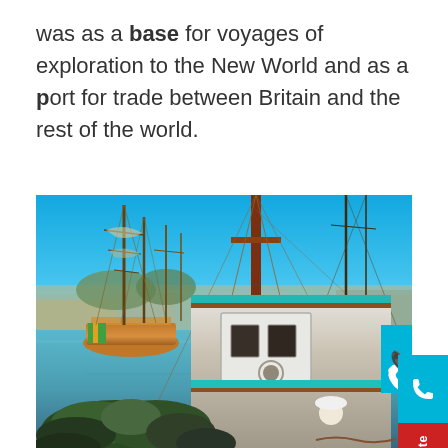was as a base for voyages of exploration to the New World and as a port for trade between Britain and the rest of the world.
[Figure (photo): A harbor scene showing historic sailing ships with tall wooden masts on the left, and a foreground vessel with white cabin structure. Waterfront buildings visible in the background. Greenery/plants visible on the foreground boat deck. Bright blue sky.]